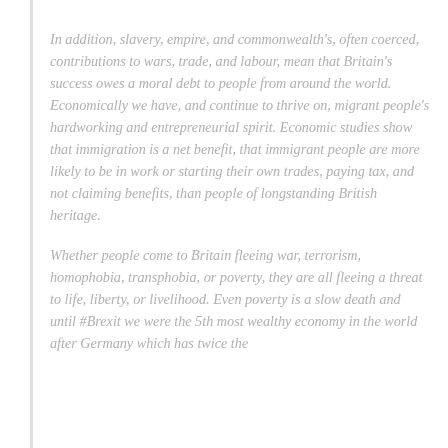In addition, slavery, empire, and commonwealth's, often coerced, contributions to wars, trade, and labour, mean that Britain's success owes a moral debt to people from around the world. Economically we have, and continue to thrive on, migrant people's hardworking and entrepreneurial spirit. Economic studies show that immigration is a net benefit, that immigrant people are more likely to be in work or starting their own trades, paying tax, and not claiming benefits, than people of longstanding British heritage.
Whether people come to Britain fleeing war, terrorism, homophobia, transphobia, or poverty, they are all fleeing a threat to life, liberty, or livelihood. Even poverty is a slow death and until #Brexit we were the 5th most wealthy economy in the world after Germany which has twice the